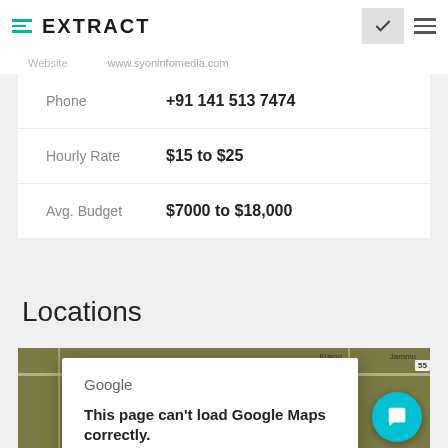EXTRACT
Website  www.syoninfomedia.com
| Field | Value |
| --- | --- |
| Phone | +91 141 513 7474 |
| Hourly Rate | $15 to $25 |
| Avg. Budget | $7000 to $18,000 |
Locations
[Figure (map): Google Map showing location with error dialog: 'This page can't load Google Maps correctly. Do you own this website? OK']